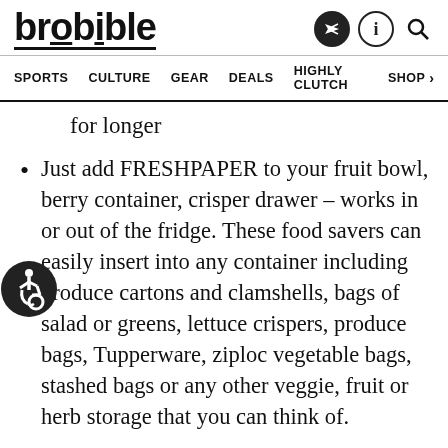brobible
SPORTS   CULTURE   GEAR   DEALS   HIGHLY CLUTCH   SHOP >
for longer
Just add FRESHPAPER to your fruit bowl, berry container, crisper drawer – works in or out of the fridge. These food savers can easily insert into any container including produce cartons and clamshells, bags of salad or greens, lettuce crispers, produce bags, Tupperware, ziploc vegetable bags, stashed bags or any other veggie, fruit or herb storage that you can think of.